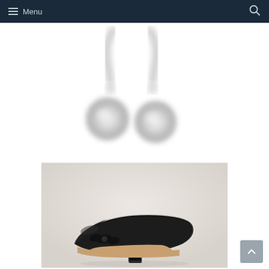Menu
[Figure (photo): A pair of silver drop earrings with round crystal/rhinestone pendants, shown on white background, slightly blurred close-up product photo.]
[Figure (photo): A black suede block-heel pump shoe with a small bow at the toe, shown in profile on a light background, product photo.]